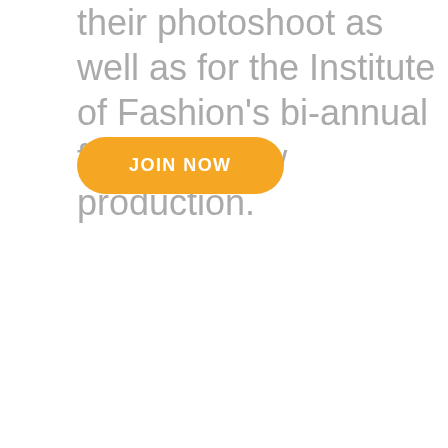their photoshoot as well as for the Institute of Fashion's bi-annual fashion show production.
JOIN NOW